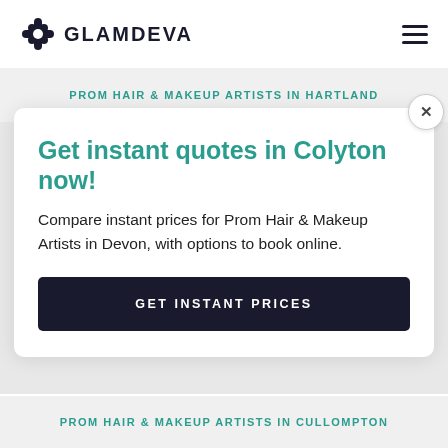GLAMDEVA
PROM HAIR & MAKEUP ARTISTS IN HARTLAND
Get instant quotes in Colyton now!
Compare instant prices for Prom Hair & Makeup Artists in Devon, with options to book online.
GET INSTANT PRICES
PROM HAIR & MAKEUP ARTISTS IN CULLOMPTON